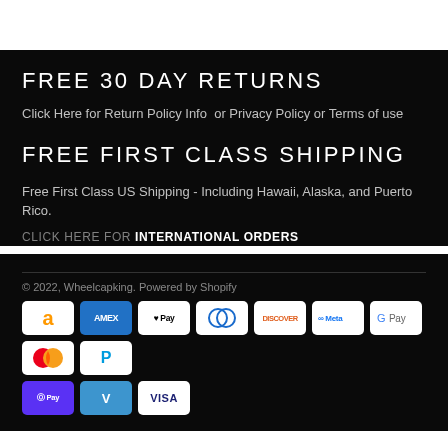FREE 30 DAY RETURNS
Click Here for Return Policy Info  or Privacy Policy or Terms of use
FREE FIRST CLASS SHIPPING
Free First Class US Shipping - Including Hawaii, Alaska, and Puerto Rico.
CLICK HERE FOR INTERNATIONAL ORDERS
© 2022, Wheelcapking. Powered by Shopify
[Figure (other): Payment method icons: Amazon, Amex, Apple Pay, Diners Club, Discover, Meta Pay, Google Pay, Mastercard, PayPal, Shop Pay, Venmo, Visa]